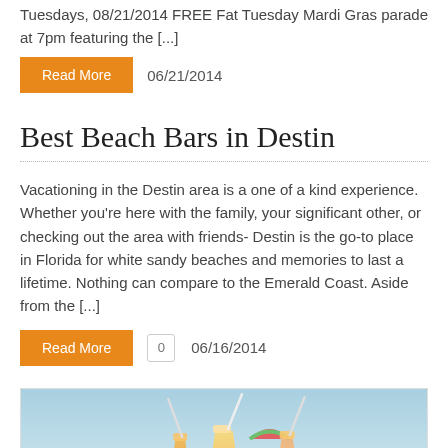Tuesdays, 08/21/2014 FREE Fat Tuesday Mardi Gras parade at 7pm featuring the [...]
Read More   06/21/2014
Best Beach Bars in Destin
Vacationing in the Destin area is a one of a kind experience. Whether you're here with the family, your significant other, or checking out the area with friends- Destin is the go-to place in Florida for white sandy beaches and memories to last a lifetime. Nothing can compare to the Emerald Coast. Aside from the [...]
Read More   0   06/16/2014
[Figure (photo): Photo of tropical cocktail drinks with straws against a light blue sky background]